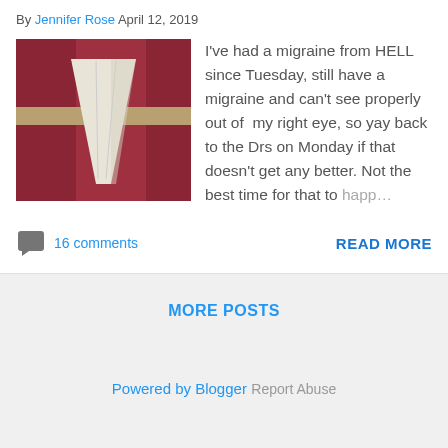By Jennifer Rose April 12, 2019
[Figure (photo): Thumbnail image showing a triangular white fabric piece against a red background]
I've had a migraine from HELL since Tuesday, still have a migraine and can't see properly out of my right eye, so yay back to the Drs on Monday if that doesn't get any better. Not the best time for that to happ…
16 comments
READ MORE
MORE POSTS
Powered by Blogger
Report Abuse